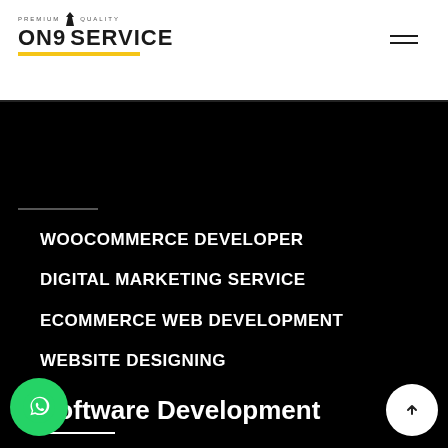[Figure (logo): On9Service logo with crown/flame icon, bold text ON9SERVICE, yellow underline bar]
[Figure (other): Hamburger menu icon (three horizontal lines)]
WOOCOMMERCE DEVELOPER
DIGITAL MARKETING SERVICE
ECOMMERCE WEB DEVELOPMENT
WEBSITE DESIGNING
WORDPRESS DEVELOPMENT
Software Development
[Figure (other): Green WhatsApp chat button (circle with WhatsApp icon)]
[Figure (other): White scroll-to-top button (circle with up arrow)]